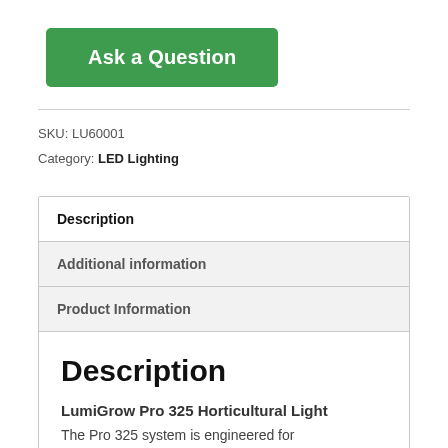Ask a Question
SKU: LU60001
Category: LED Lighting
Description
Additional information
Product Information
Description
LumiGrow Pro 325 Horticultural Light
The Pro 325 system is engineered for